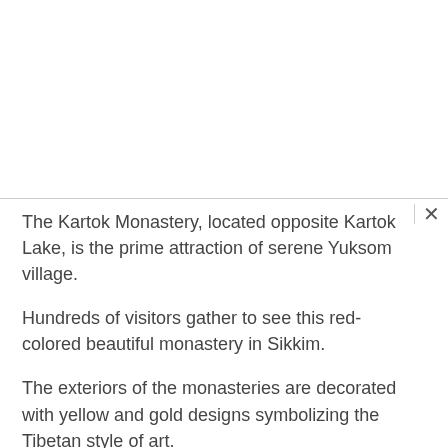The Kartok Monastery, located opposite Kartok Lake, is the prime attraction of serene Yuksom village.
Hundreds of visitors gather to see this red-colored beautiful monastery in Sikkim.
The exteriors of the monasteries are decorated with yellow and gold designs symbolizing the Tibetan style of art.
Slow chantings of prayers with prayer wheels and fluttering prayer flags, as well as the